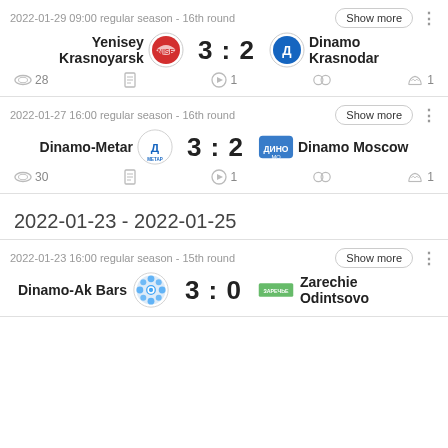2022-01-29 09:00 regular season - 16th round
Yenisey Krasnoyarsk 3 : 2 Dinamo Krasnodar
28 | 1 | 1
2022-01-27 16:00 regular season - 16th round
Dinamo-Metar 3 : 2 Dinamo Moscow
30 | 1 | 1
2022-01-23 - 2022-01-25
2022-01-23 16:00 regular season - 15th round
Dinamo-Ak Bars 3 : 0 Zarechie Odintsovo